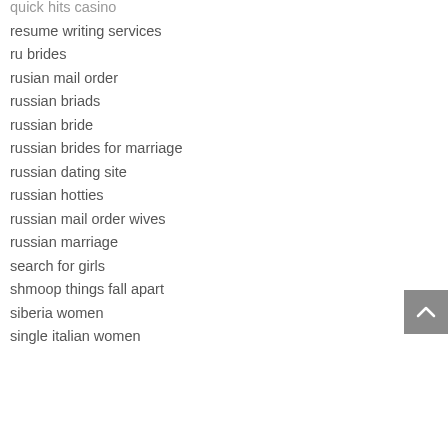quick hits casino
resume writing services
ru brides
rusian mail order
russian briads
russian bride
russian brides for marriage
russian dating site
russian hotties
russian mail order wives
russian marriage
search for girls
shmoop things fall apart
siberia women
single italian women